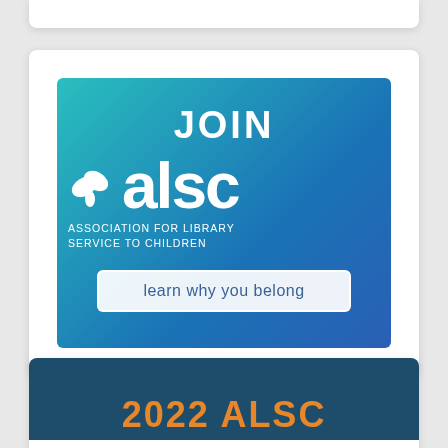[Figure (logo): ALSC (Association for Library Service to Children) membership advertisement banner with gradient teal-to-blue background. Text reads JOIN at top, followed by the ALSC logo with flower icon, subtitle ASSOCIATION FOR LIBRARY SERVICE TO CHILDREN, and a button reading learn why you belong.]
[Figure (other): Partial bottom card with dark teal background showing the beginning of text '2022 ALSC' in orange color.]